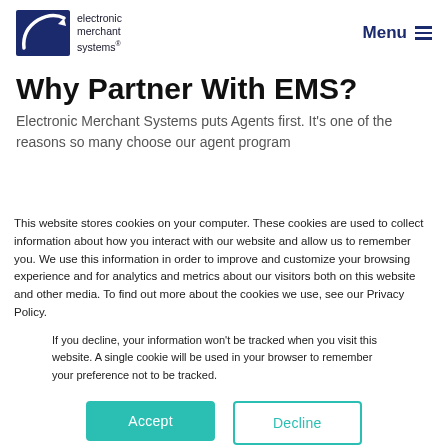[Figure (logo): Electronic Merchant Systems logo with dark blue arc/arrow shape and text 'electronic merchant systems']
Menu ≡
Why Partner With EMS?
Electronic Merchant Systems puts Agents first. It's one of the reasons so many choose our agent program
This website stores cookies on your computer. These cookies are used to collect information about how you interact with our website and allow us to remember you. We use this information in order to improve and customize your browsing experience and for analytics and metrics about our visitors both on this website and other media. To find out more about the cookies we use, see our Privacy Policy.
If you decline, your information won't be tracked when you visit this website. A single cookie will be used in your browser to remember your preference not to be tracked.
Accept
Decline